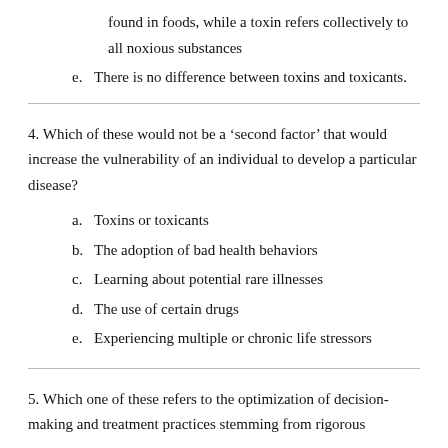found in foods, while a toxin refers collectively to all noxious substances
e. There is no difference between toxins and toxicants.
4. Which of these would not be a ‘second factor’ that would increase the vulnerability of an individual to develop a particular disease?
a. Toxins or toxicants
b. The adoption of bad health behaviors
c. Learning about potential rare illnesses
d. The use of certain drugs
e. Experiencing multiple or chronic life stressors
5. Which one of these refers to the optimization of decision-making and treatment practices stemming from rigorous